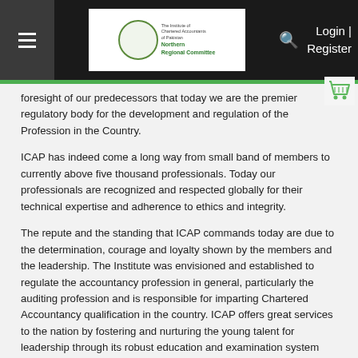Login | Register
foresight of our predecessors that today we are the premier regulatory body for the development and regulation of the Profession in the Country.
ICAP has indeed come a long way from small band of members to currently above five thousand professionals. Today our professionals are recognized and respected globally for their technical expertise and adherence to ethics and integrity.
The repute and the standing that ICAP commands today are due to the determination, courage and loyalty shown by the members and the leadership. The Institute was envisioned and established to regulate the accountancy profession in general, particularly the auditing profession and is responsible for imparting Chartered Accountancy qualification in the country. ICAP offers great services to the nation by fostering and nurturing the young talent for leadership through its robust education and examination system throughout the years producing high caliber professionals.
In addition to this, ICAP plays its role in strengthening the regulatory framework in Pakistan through working in cooperation with important policy making institutions and regulators including the State Bank of Pakistan, the Securities and Exchange Commission of Pakistan, the Federal Board of Revenue and other Ministries.